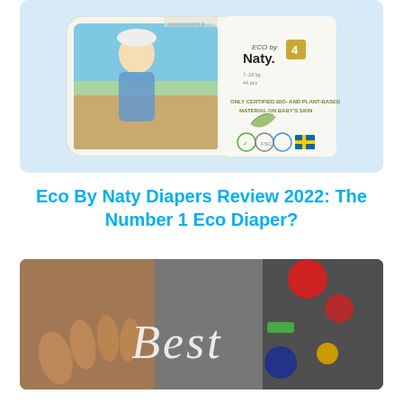[Figure (photo): Eco by Naty diaper package (Size 4) on a light blue background. Package shows a child on a beach, brand logo 'ECO by Naty', and text 'ONLY CERTIFIED BIO- AND PLANT-BASED MATERIAL ON BABY'S SKIN' with eco certification icons.]
Eco By Naty Diapers Review 2022: The Number 1 Eco Diaper?
[Figure (photo): Close-up photo of hands with colorful toys/objects in the background, with an italic script overlay text reading 'Best']